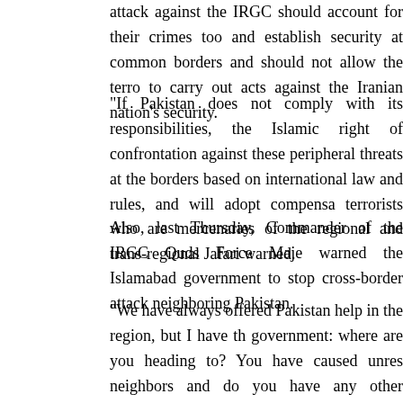attack against the IRGC should account for their crimes too and establish security at common borders and should not allow the terrorists to carry out acts against the Iranian nation's security.
"If Pakistan does not comply with its responsibilities, the Islamic right of confrontation against these peripheral threats at the borders based on international law and rules, and will adopt compensatory terrorists who are mercenaries of the regional and trans-regional Jafari warned.
Also, last Thursday, Commander of the IRGC Quds Force Major warned the Islamabad government to stop cross-border attacks neighboring Pakistan.
"We have always offered Pakistan help in the region, but I have the government: where are you heading to? You have caused unrest neighbors and do you have any other neighbor left that you want Soleimani said, addressing a ceremony in the Northern Iranian province.